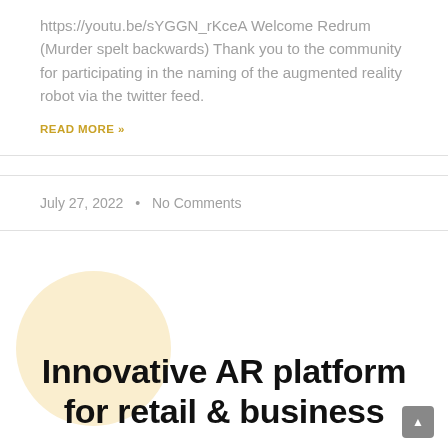https://youtu.be/sYGGN_rKceA Welcome Redrum (Murder spelt backwards) Thank you to the community for participating in the naming of the augmented reality robot via the twitter feed.
READ MORE »
July 27, 2022 • No Comments
[Figure (illustration): Decorative pale yellow circle in background behind title text]
Innovative AR platform for retail & business
For more information please register for our pilot program on our download page